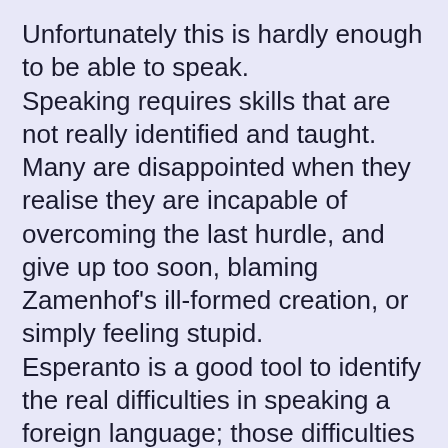Unfortunately this is hardly enough to be able to speak. Speaking requires skills that are not really identified and taught. Many are disappointed when they realise they are incapable of overcoming the last hurdle, and give up too soon, blaming Zamenhof's ill-formed creation, or simply feeling stupid.
Esperanto is a good tool to identify the real difficulties in speaking a foreign language; those difficulties would apply to any language. It's a great second language to learn, because it teaches you so much about how languages are put together, it helps you greatly when you want to learn future languages (especially those that contain all those sounds that are difficult for Asian people), and though this is only my opinion, it's a very beautiful and useful